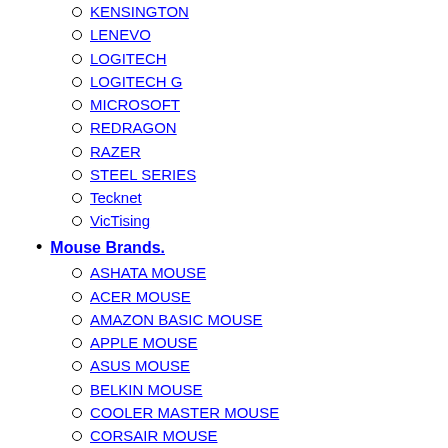KENSINGTON
LENEVO
LOGITECH
LOGITECH G
MICROSOFT
REDRAGON
RAZER
STEEL SERIES
Tecknet
VicTising
Mouse Brands.
ASHATA MOUSE
ACER MOUSE
AMAZON BASIC MOUSE
APPLE MOUSE
ASUS MOUSE
BELKIN MOUSE
COOLER MASTER MOUSE
CORSAIR MOUSE
DELL MOUSE
HP MOUSE
JELLY COMB MOUSE
KENSINGTON MOUSE
LOGITECH MOUSE
LENOVO MOUSE
MICROSOFT MOUSE